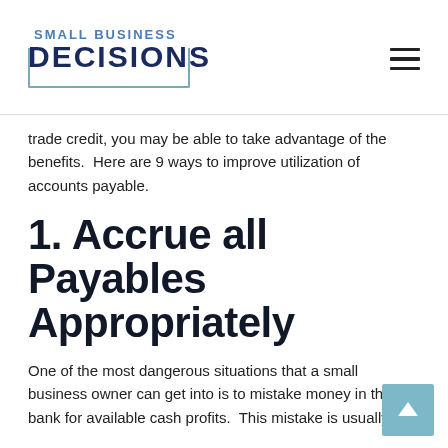Small Business Decisions
trade credit, you may be able to take advantage of the benefits.  Here are 9 ways to improve utilization of accounts payable.
1. Accrue all Payables Appropriately
One of the most dangerous situations that a small business owner can get into is to mistake money in the bank for available cash profits.  This mistake is usually the